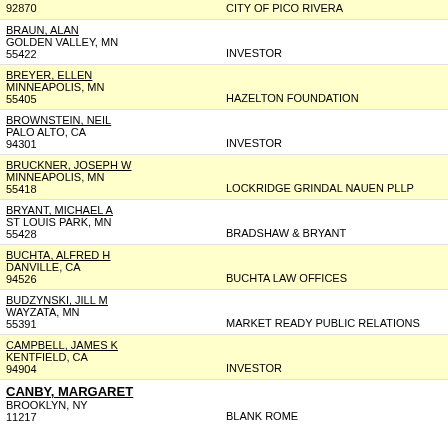92870 | CITY OF PICO RIVERA
BRAUN, ALAN
GOLDEN VALLEY, MN
55422 | INVESTOR
BREYER, ELLEN
MINNEAPOLIS, MN
55405 | HAZELTON FOUNDATION
BROWNSTEIN, NEIL
PALO ALTO, CA
94301 | INVESTOR
BRUCKNER, JOSEPH W
MINNEAPOLIS, MN
55418 | LOCKRIDGE GRINDAL NAUEN PLLP
BRYANT, MICHAEL A
ST LOUIS PARK, MN
55428 | BRADSHAW & BRYANT
BUCHTA, ALFRED H
DANVILLE, CA
94526 | BUCHTA LAW OFFICES
BUDZYNSKI, JILL M
WAYZATA, MN
55391 | MARKET READY PUBLIC RELATIONS
CAMPBELL, JAMES K
KENTFIELD, CA
94904 | INVESTOR
CANBY, MARGARET
BROOKLYN, NY
11217 | BLANK ROME